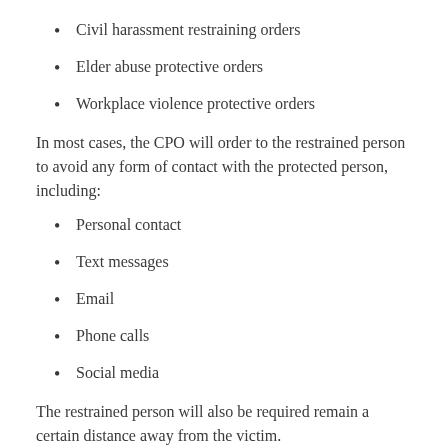Civil harassment restraining orders
Elder abuse protective orders
Workplace violence protective orders
In most cases, the CPO will order to the restrained person to avoid any form of contact with the protected person, including:
Personal contact
Text messages
Email
Phone calls
Social media
The restrained person will also be required remain a certain distance away from the victim.